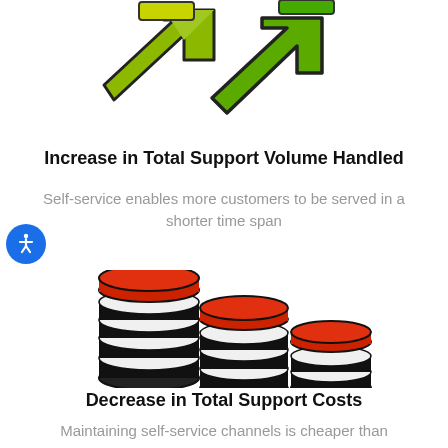[Figure (illustration): Green arrows pointing outward/upward indicating increase in support volume handled]
Increase in Total Support Volume Handled
Self-service enables more customers to be served in a shorter time span
[Figure (illustration): Three stacks of coins decreasing in height from left to right, with red tops and black/white striped bodies, indicating decrease in costs]
Decrease in Total Support Costs
Maintaining self-service channels is cheaper than